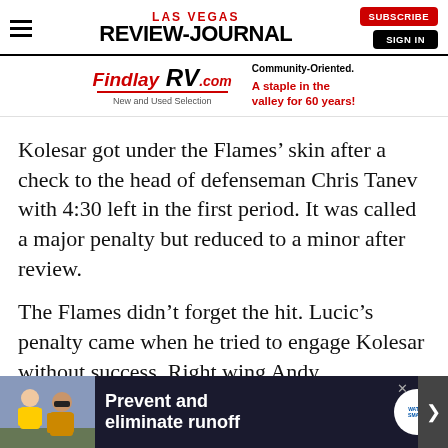LAS VEGAS REVIEW-JOURNAL
[Figure (logo): Findlay RV.com advertisement - New and Used Selection, Community-Oriented, A staple in the valley for 60 years!]
Kolesar got under the Flames’ skin after a check to the head of defenseman Chris Tanev with 4:30 left in the first period. It was called a major penalty but reduced to a minor after review.
The Flames didn’t forget the hit. Lucic’s penalty came when he tried to engage Kolesar without success. Right wing Andy...
[Figure (photo): Prevent and eliminate runoff - Water Smart advertisement banner at bottom of page]